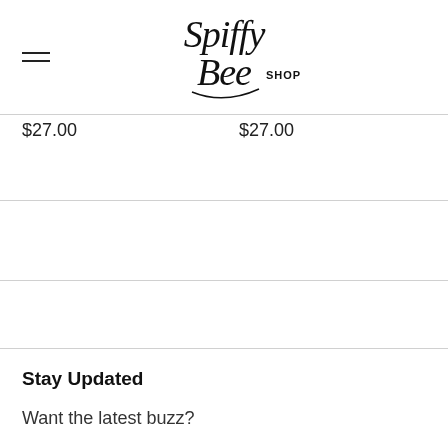[Figure (logo): Spiffy Bee Shop logo in cursive script]
$27.00    $27.00
Stay Updated
Want the latest buzz?